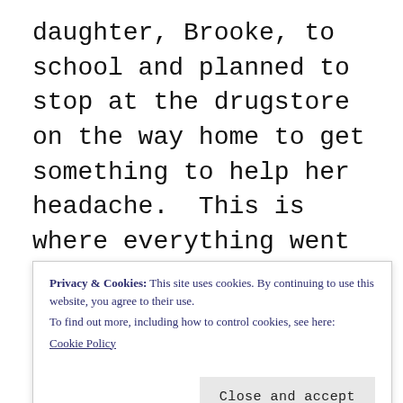daughter, Brooke, to school and planned to stop at the drugstore on the way home to get something to help her headache. This is where everything went wrong and life for Brooke and her father would never be the same.

Tom Coggan needed money for drugs and decided to rob a liquor store that morning
Privacy & Cookies: This site uses cookies. By continuing to use this website, you agree to their use.
To find out more, including how to control cookies, see here:
Cookie Policy
Close and accept
didn't want to follow in his footsteps. When